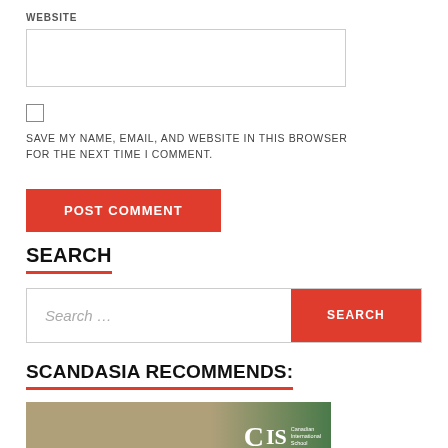WEBSITE
SAVE MY NAME, EMAIL, AND WEBSITE IN THIS BROWSER FOR THE NEXT TIME I COMMENT.
POST COMMENT
SEARCH
Search …
SCANDASIA RECOMMENDS:
[Figure (photo): Photo of a student studying with CIS (Canadian International School) logo overlay on green background]